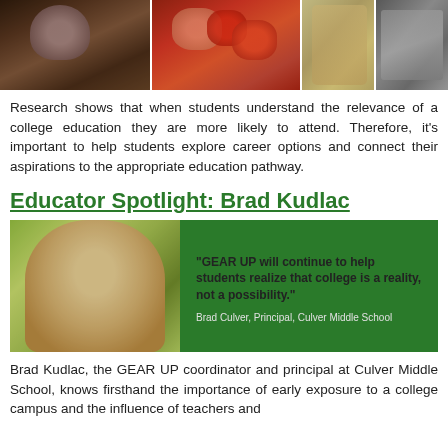[Figure (photo): Three-panel photo collage: a student with a camera on the left, a pile of red apples in the middle, a person in formal attire and a lab/equipment scene on the right]
Research shows that when students understand the relevance of a college education they are more likely to attend. Therefore, it's important to help students explore career options and connect their aspirations to the appropriate education pathway.
Educator Spotlight: Brad Kudlac
[Figure (photo): Left half: photo of Brad Kudlac (man smiling outdoors). Right half: green background with quote '"GEAR UP will continue to help students realize that college is a reality, not a possibility." Brad Culver, Principal, Culver Middle School']
Brad Kudlac, the GEAR UP coordinator and principal at Culver Middle School, knows firsthand the importance of early exposure to a college campus and the influence of teachers and